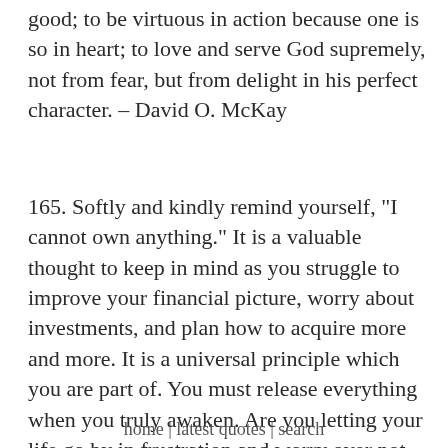good; to be virtuous in action because one is so in heart; to love and serve God supremely, not from fear, but from delight in his perfect character. – David O. McKay
165. Softly and kindly remind yourself, "I cannot own anything." It is a valuable thought to keep in mind as you struggle to improve your financial picture, worry about investments, and plan how to acquire more and more. It is a universal principle which you are part of. You must release everything when you truly awaken. Are you letting your life go by in frustration and worry over not having enough? If so, relax and remember that you only
home | latest quotes | search